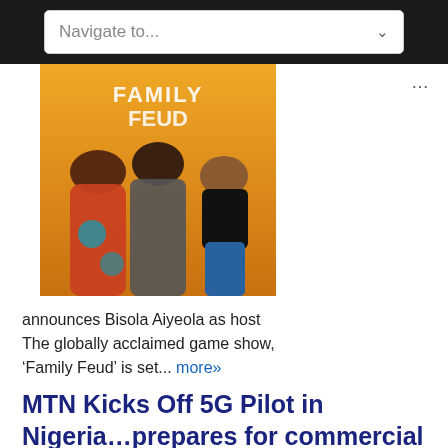Navigate to...
[Figure (photo): Three women posing in front of a Family Feud game show backdrop with orange/yellow background]
announces Bisola Aiyeola as host
The globally acclaimed game show, ‘Family Feud’ is set... more»
MTN Kicks Off 5G Pilot in Nigeria…prepares for commercial launch in seven cities